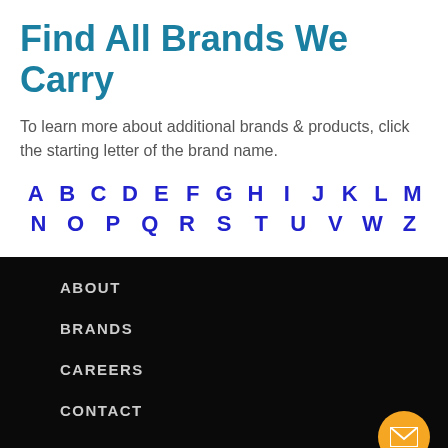Find All Brands We Carry
To learn more about additional brands & products, click the starting letter of the brand name.
[Figure (other): Alphabet navigation links: A B C D E F G H I J K L M N O P Q R S T U V W Z]
ABOUT
BRANDS
CAREERS
CONTACT